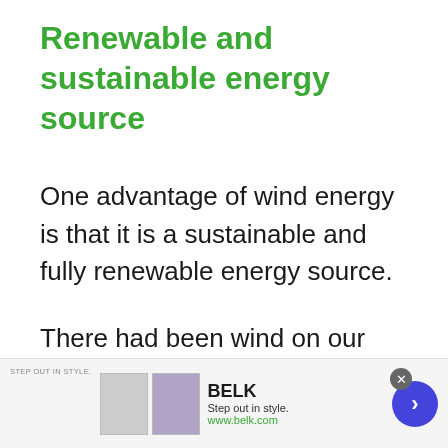Renewable and sustainable energy source
One advantage of wind energy is that it is a sustainable and fully renewable energy source.
There had been wind on our planet long before the first human had been born and there will be wind on our planet even after humanity had been wiped out.